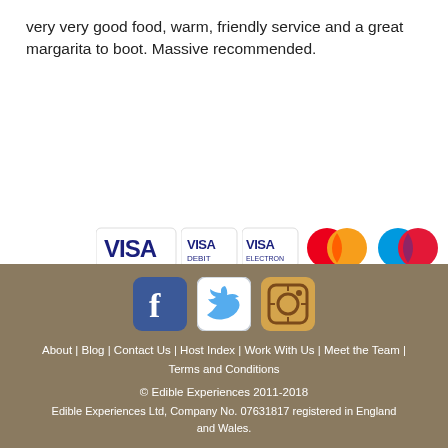very very good food, warm, friendly service and a great margarita to boot. Massive recommended.
[Figure (logo): Payment method logos: VISA, VISA Debit, VISA Electron, MasterCard, Maestro]
About | Blog | Contact Us | Host Index | Work With Us | Meet the Team | Terms and Conditions
© Edible Experiences 2011-2018
Edible Experiences Ltd, Company No. 07631817 registered in England and Wales.